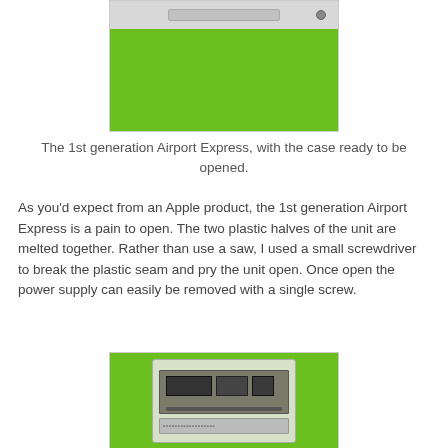[Figure (photo): Photo of the 1st generation Airport Express device on a green background, with the case ready to be opened. Device shown from above, displaying the white/grey plastic casing.]
The 1st generation Airport Express, with the case ready to be opened.
As you'd expect from an Apple product, the 1st generation Airport Express is a pain to open. The two plastic halves of the unit are melted together. Rather than use a saw, I used a small screwdriver to break the plastic seam and pry the unit open. Once open the power supply can easily be removed with a single screw.
[Figure (photo): Photo of the interior of the 1st generation Airport Express showing the circuit board/power supply on a green background.]